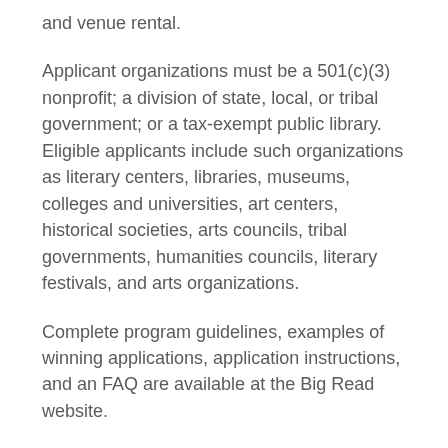and venue rental.
Applicant organizations must be a 501(c)(3) nonprofit; a division of state, local, or tribal government; or a tax-exempt public library. Eligible applicants include such organizations as literary centers, libraries, museums, colleges and universities, art centers, historical societies, arts councils, tribal governments, humanities councils, literary festivals, and arts organizations.
Complete program guidelines, examples of winning applications, application instructions, and an FAQ are available at the Big Read website.
Link to Complete RFP
Filed Under: Local News From Our Partners, News & Media